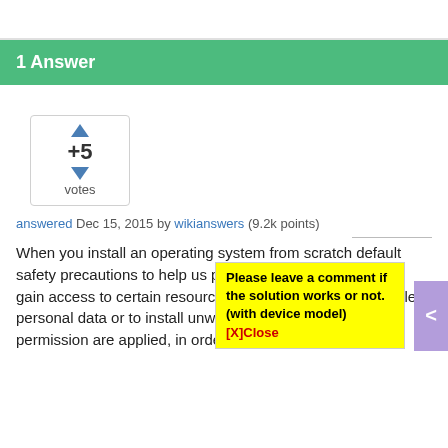1 Answer
[Figure (infographic): Vote box showing +5 votes with up and down arrow triangles]
answered Dec 15, 2015 by wikianswers (9.2k points)
When you install an operating system from scratch default safety precautions to help us prevent some applications to gain access to certain resources on our system, for example, personal data or to install unwanted software without permission are applied, in order to prevent our secu...ised.
Please leave a comment if the solution works or not.
(with device model) [X]Close